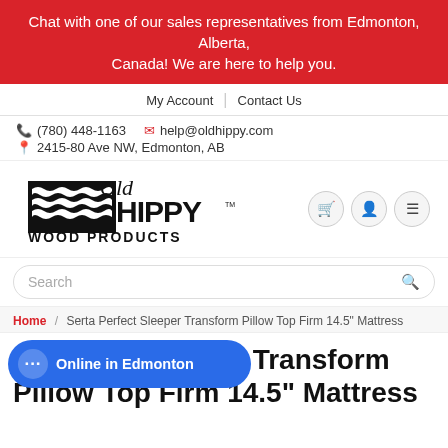Chat with one of our sales representatives from Edmonton, Alberta, Canada! We are here to help you.
My Account | Contact Us
(780) 448-1163   help@oldhippy.com   2415-80 Ave NW, Edmonton, AB
[Figure (logo): Old Hippy Wood Products logo — black and white logo with wave pattern and stylized text]
Search
Home / Serta Perfect Sleeper Transform Pillow Top Firm 14.5" Mattress
Serta Perfect Sleeper Transform Pillow Top Firm 14.5" Mattress
Online in Edmonton